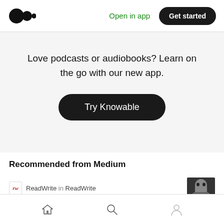[Figure (logo): Medium logo: two overlapping black circles]
Open in app
Get started
Love podcasts or audiobooks? Learn on the go with our new app.
Try Knowable
Recommended from Medium
ReadWrite in ReadWrite
[Figure (photo): Thumbnail photo of a person's face]
Home / Search / Profile navigation icons